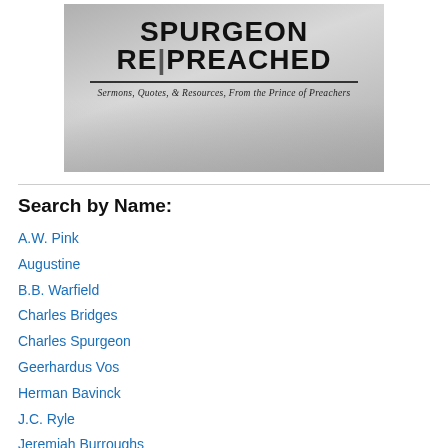[Figure (illustration): Banner image for 'Spurgeon Re|Preached' website showing bold title text, subtitle 'Sermons, Quotes, & Resources, From the Prince of Preachers', with a decorative grey background suggesting old books or pulpit imagery.]
Search by Name:
A.W. Pink
Augustine
B.B. Warfield
Charles Bridges
Charles Spurgeon
Geerhardus Vos
Herman Bavinck
J.C. Ryle
Jeremiah Burroughs